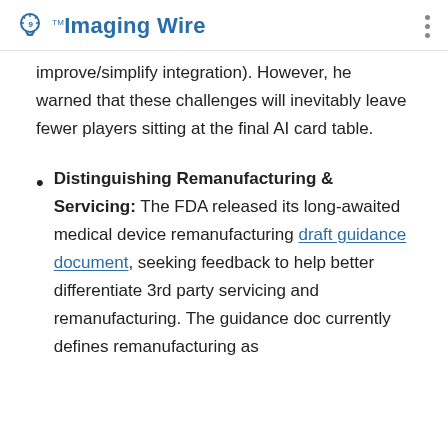Imaging Wire
improve/simplify integration). However, he warned that these challenges will inevitably leave fewer players sitting at the final AI card table.
Distinguishing Remanufacturing & Servicing: The FDA released its long-awaited medical device remanufacturing draft guidance document, seeking feedback to help better differentiate 3rd party servicing and remanufacturing. The guidance doc currently defines remanufacturing as